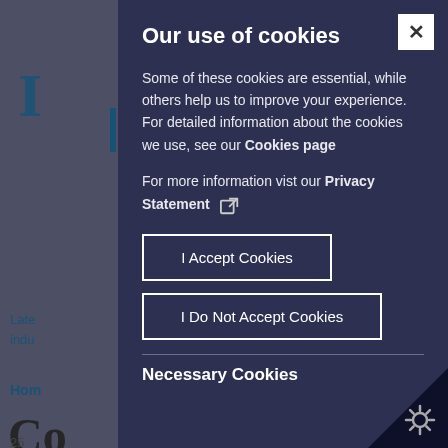Our use of cookies
Some of these cookies are essential, while others help us to improve your experience. For detailed information about the cookies we use, see our Cookies page
For more information vist our Privacy Statement
I Accept Cookies
I Do Not Accept Cookies
Necessary Cookies